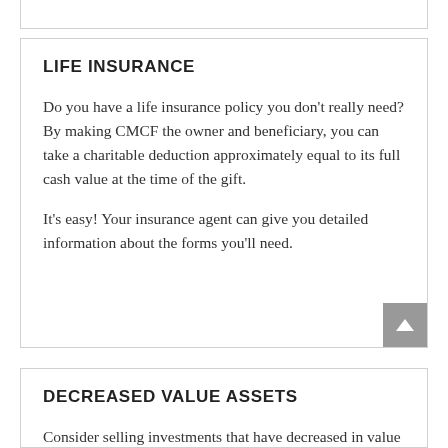LIFE INSURANCE
Do you have a life insurance policy you don’t really need? By making CMCF the owner and beneficiary, you can take a charitable deduction approximately equal to its full cash value at the time of the gift.
It’s easy! Your insurance agent can give you detailed information about the forms you’ll need.
DECREASED VALUE ASSETS
Consider selling investments that have decreased in value and donating the proceeds to CMCF. The deductible loss plus